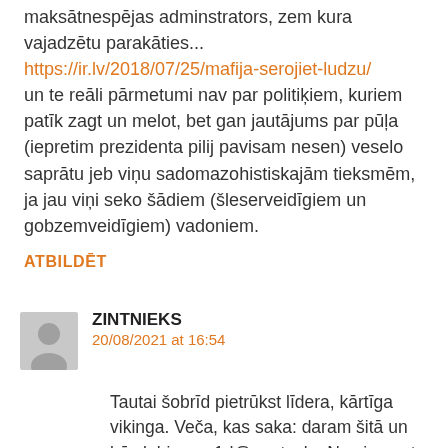maksātnespējas adminstrators, zem kura vajadzētu parakāties... https://ir.lv/2018/07/25/mafija-serojiet-ludzu/ un te reāli pārmetumi nav par politiķiem, kuriem patīk zagt un melot, bet gan jautājums par pūļa (iepretim prezidenta pilij pavisam nesen) veselo saprātu jeb viņu sadomazohistiskajām tieksmēm, ja jau viņi seko šādiem (šleserveidīgiem un gobzemveidīgiem) vadoniem.
ATBILDĒT
ZINTNIEKS
20/08/2021 at 16:54
Tautai šobrīd pietrūkst līdera, kārtīga vikinga. Veča, kas saka: daram šitā un būs labi, na p1d@ra stavļu. Nav jau pat svarīgi kads ir saturs, bet svarīga ir forma.